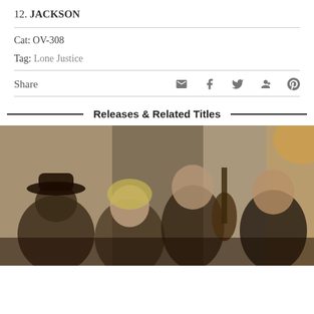12. JACKSON
Cat: OV-308
Tag: Lone Justice
Share
Releases & Related Titles
[Figure (photo): Vintage sepia-toned band photo of Lone Justice, showing four young members, one holding a guitar, posed in front of a wooden door background.]